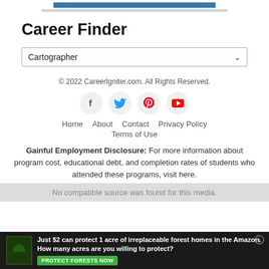[Figure (other): Blue decorative top bar]
Career Finder
Cartographer (dropdown selector)
© 2022 CareerIgniter.com. All Rights Reserved.
[Figure (other): Social media icons: Facebook, Twitter, Pinterest, YouTube]
Home  About  Contact  Privacy Policy
Terms of Use
Gainful Employment Disclosure: For more information about program cost, educational debt, and completion rates of students who attended these programs, visit here.
No compatible source was found for this media.
[Figure (infographic): Ad banner: Just $2 can protect 1 acre of irreplaceable forest homes in the Amazon. How many acres are you willing to protect? PROTECT FORESTS NOW button.]